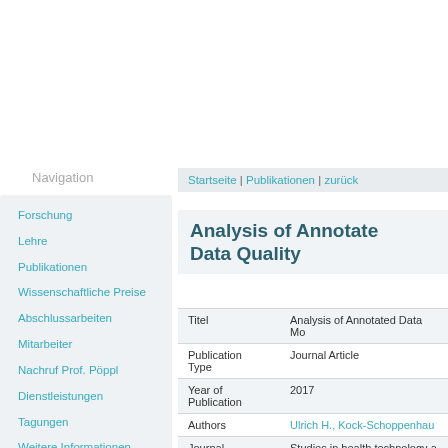Navigation
Forschung
Lehre
Publikationen
Wissenschaftliche Preise
Abschlussarbeiten
Mitarbeiter
Nachruf Prof. Pöppl
Dienstleistungen
Tagungen
Weitere Informationen
Impressum
Datenschutzerklärung
Startseite | Publikationen | zurück
Analysis of Annotated Data Quality
| Field | Value |
| --- | --- |
| Titel | Analysis of Annotated Data Mo… |
| Publication Type | Journal Article |
| Year of Publication | 2017 |
| Authors | Ulrich H., Kock-Schoppenhau… |
| Journal | Studies in health technology a… |
| Volume | 243 |
| Pages | 190-194 |